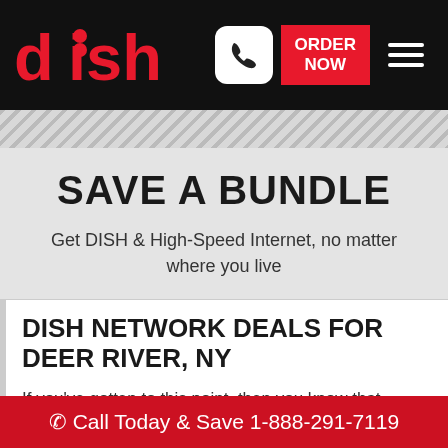DISH — ORDER NOW
SAVE A BUNDLE
Get DISH & High-Speed Internet, no matter where you live
DISH NETWORK DEALS FOR DEER RIVER, NY
If you've gotten to this point, then you know that
Call Today & Save 1-888-291-7119